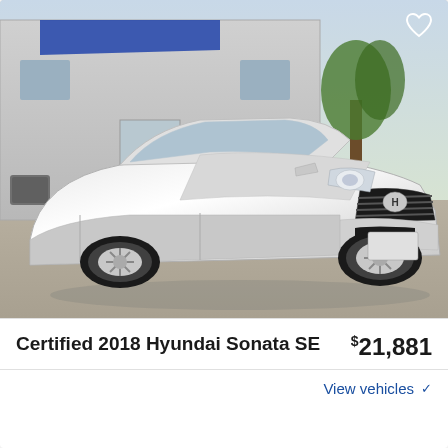[Figure (photo): Silver/white Hyundai Sonata SE parked in a lot in front of a commercial building. Front three-quarter view. Sunny day. Heart/favorite icon in top-right corner of image.]
Certified 2018 Hyundai Sonata SE  $21,881
View vehicles